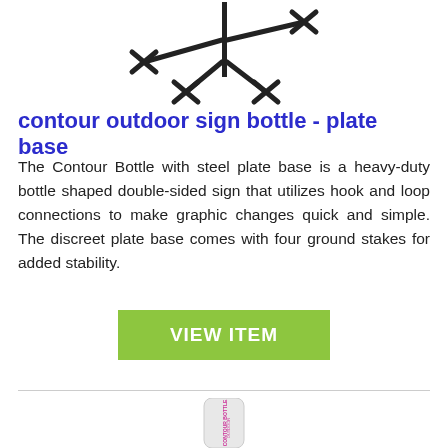[Figure (photo): Product image of contour outdoor sign bottle plate base - showing black metal cross-shaped stake/stand from top view]
contour outdoor sign bottle - plate base
The Contour Bottle with steel plate base is a heavy-duty bottle shaped double-sided sign that utilizes hook and loop connections to make graphic changes quick and simple. The discreet plate base comes with four ground stakes for added stability.
[Figure (other): Green VIEW ITEM button]
[Figure (photo): Product image of contour bottle outdoor sign - white bottle-shaped sign with CONTOUR BOTTLE OUTDOOR text printed vertically in pink/magenta]